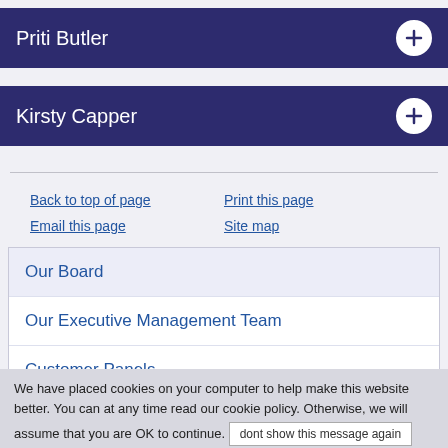Priti Butler
Kirsty Capper
Back to top of page
Print this page
Email this page
Site map
Our Board
Our Executive Management Team
Customer Panels
We have placed cookies on your computer to help make this website better. You can at any time read our cookie policy. Otherwise, we will assume that you are OK to continue.